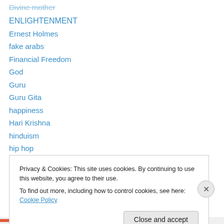Divine mother
ENLIGHTENMENT
Ernest Holmes
fake arabs
Financial Freedom
God
Guru
Guru Gita
happiness
Hari Krishna
hinduism
hip hop
I CHING READING
I CHING READINGS
Privacy & Cookies: This site uses cookies. By continuing to use this website, you agree to their use. To find out more, including how to control cookies, see here: Cookie Policy
Close and accept